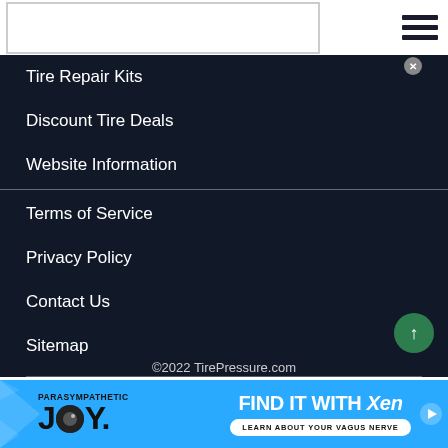Tire Repair Kits
Discount Tire Deals
Website Information
Terms of Service
Privacy Policy
Contact Us
Sitemap
©2022 TirePressure.com
[Figure (screenshot): Advertisement banner: Parasympathetic JOY. Find it with Xen. Learn about your vagus nerve.]